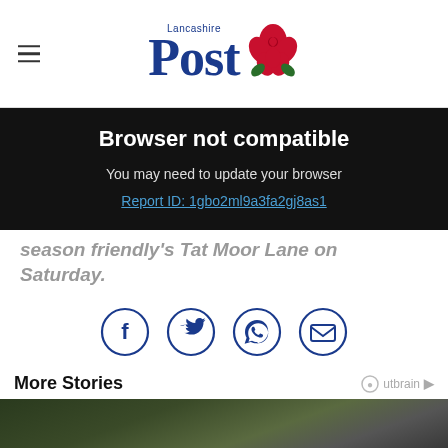Lancashire Post
Browser not compatible
You may need to update your browser
Report ID: 1gbo2ml9a3fa2gj8as1
season friendly's Tat Moor Lane on Saturday.
[Figure (infographic): Social share icons: Facebook, Twitter, WhatsApp, Email — each in a blue circle outline]
More Stories
[Figure (photo): Dark green/brown sports photo, partially visible]
50% off annual subscriptions
Subscribe today